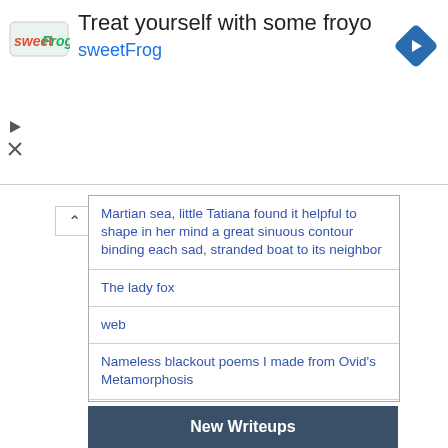[Figure (screenshot): SweetFrog advertisement banner with logo, headline 'Treat yourself with some froyo', subtext 'sweetFrog', and navigation arrow icon]
Martian sea, little Tatiana found it helpful to shape in her mind a great sinuous contour binding each sad, stranded boat to its neighbor
The lady fox
web
Nameless blackout poems I made from Ovid's Metamorphosis
Googology
Emergency Brain-Dump System
Editor Picks
Super Nintendo Entertainment System
Blackstrap Molasses
Send me the pillow, the one that you dream on
Bach Cello Suites
Velvet Revolution
One-pixel transparent GIF
New Writeups